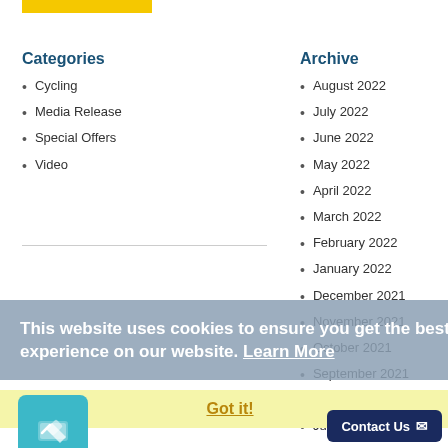[Figure (other): Yellow horizontal bar/button at top]
Categories
Cycling
Media Release
Special Offers
Video
Archive
August 2022
July 2022
June 2022
May 2022
April 2022
March 2022
February 2022
January 2022
December 2021
November 2021
October 2021
September 2021
July 2021
June 20...
May 20...
This website uses cookies to ensure you get the best experience on our website. Learn More
Got it!